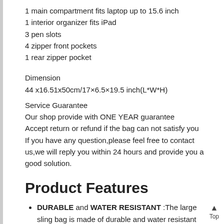1 main compartment fits laptop up to 15.6 inch
1 interior organizer fits iPad
3 pen slots
4 zipper front pockets
1 rear zipper pocket
Dimension
44 x16.51x50cm/17×6.5×19.5 inch(L*W*H)
Service Guarantee
Our shop provide with ONE YEAR guarantee
Accept return or refund if the bag can not satisfy you
If you have any question,please feel free to contact us,we will reply you within 24 hours and provide you a good solution.
Product Features
DURABLE and WATER RESISTANT :The large sling bag is made of durable and water resistant nylon material,it is easy to clean and washable.
PRACTICAL DESIGN-The main compartment and interior organizer fit iPad, laptop up to 15.6 inch laptop and some books 3 pen slot and 4 zipper